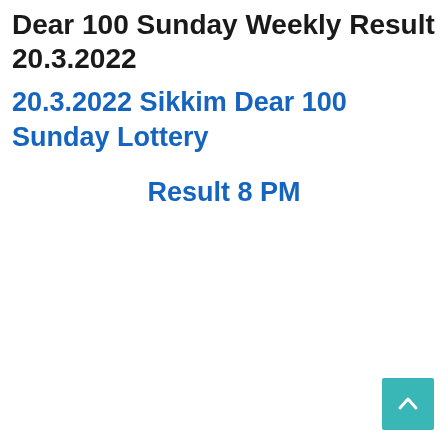Dear 100 Sunday Weekly Result 20.3.2022
20.3.2022 Sikkim Dear 100 Sunday Lottery
Result 8 PM